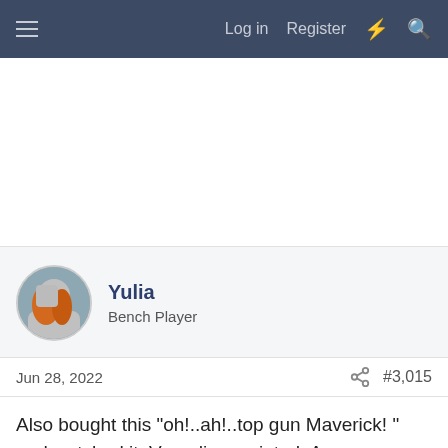≡  Log in  Register  ⚡  🔍
[Figure (other): Advertisement/blank white space area]
Yulia
Bench Player
Jun 28, 2022  #3,015
Also bought this "oh!..ah!..top gun Maverick! " and watched it. Very disappointed. A very weak,flat film. American flag is literally on every second there, just annoying.
P.S. I was on the "enemy-country" side in the end, all the